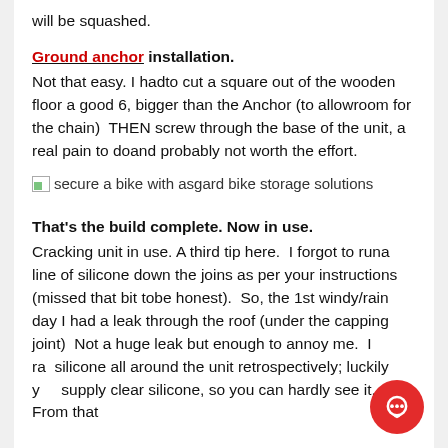will be squashed.
Ground anchor installation.
Not that easy. I hadto cut a square out of the wooden floor a good 6, bigger than the Anchor (to allowroom for the chain)  THEN screw through the base of the unit, a real pain to doand probably not worth the effort.
[Figure (photo): Image placeholder with alt text: secure a bike with asgard bike storage solutions]
That's the build complete. Now in use.
Cracking unit in use. A third tip here.  I forgot to runa line of silicone down the joins as per your instructions (missed that bit tobe honest).  So, the 1st windy/rain day I had a leak through the roof (under the capping joint)  Not a huge leak but enough to annoy me.  I ran silicone all around the unit retrospectively; luckily you supply clear silicone, so you can hardly see it.  From that